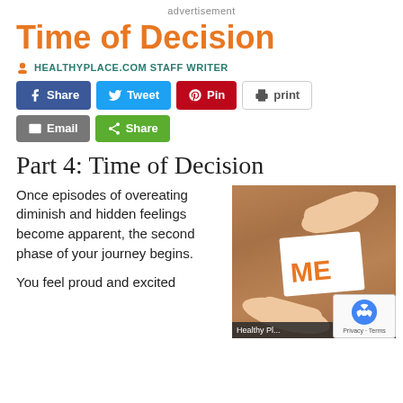advertisement
Time of Decision
HEALTHYPLACE.COM STAFF WRITER
[Figure (screenshot): Social sharing buttons: Share (Facebook), Tweet (Twitter), Pin (Pinterest), print, Email, Share (generic)]
Part 4: Time of Decision
Once episodes of overeating diminish and hidden feelings become apparent, the second phase of your journey begins.
You feel proud and excited
[Figure (photo): Hands holding a white card with the word ME in orange text, on a wooden background. Caption bar at bottom reads Healthy Pl...]